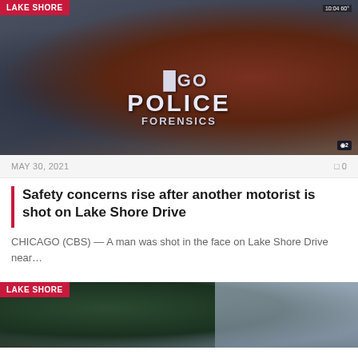[Figure (photo): Chicago Police Forensics officer with back turned, wearing navy jacket labeled 'CHICAGO POLICE FORENSICS', standing near cars. CBS 2 logo visible in lower right. LAKE SHORE badge in upper left corner.]
MAY 30, 2021
0
Safety concerns rise after another motorist is shot on Lake Shore Drive
CHICAGO (CBS) — A man was shot in the face on Lake Shore Drive near…
[Figure (photo): Outdoor scene with trees and tall residential buildings in background. LAKE SHORE badge in upper left corner.]